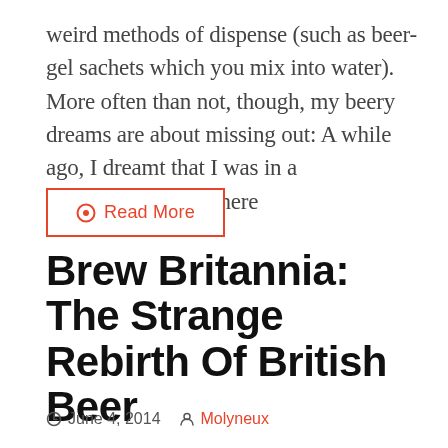weird methods of dispense (such as beer-gel sachets which you mix into water). More often than not, though, my beery dreams are about missing out: A while ago, I dreamt that I was in a Wetherspoons but there
Read More
Brew Britannia: The Strange Rebirth Of British Beer
June 4, 2014  Molyneux